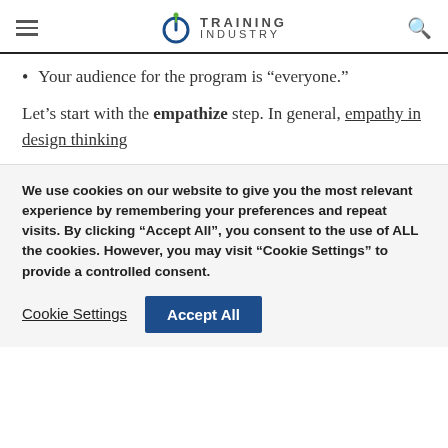Training Industry
Your audience for the program is “everyone.”
Let’s start with the empathize step. In general, empathy in design thinking
We use cookies on our website to give you the most relevant experience by remembering your preferences and repeat visits. By clicking “Accept All”, you consent to the use of ALL the cookies. However, you may visit “Cookie Settings” to provide a controlled consent.
Cookie Settings | Accept All